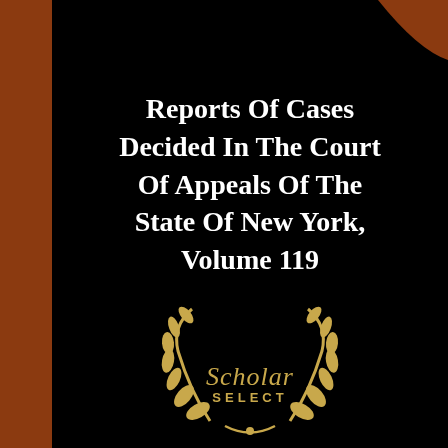[Figure (illustration): Book cover with black background, brown spine on the left, brown decorative corner piece at top-right, centered white bold title text, and a gold Scholar Select laurel wreath badge at the bottom center.]
Reports Of Cases Decided In The Court Of Appeals Of The State Of New York, Volume 119
[Figure (logo): Scholar Select gold laurel wreath logo with italic 'Scholar' text and bold 'SELECT' text below, in golden/amber color.]